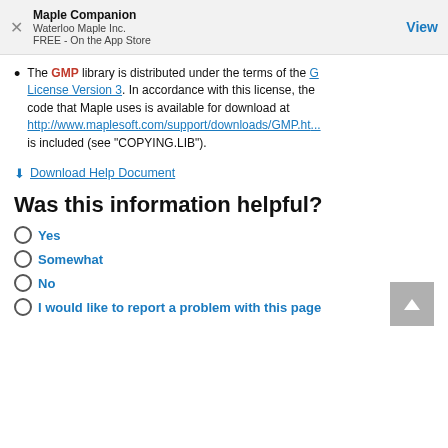Maple Companion
Waterloo Maple Inc.
FREE - On the App Store
View
The GMP library is distributed under the terms of the GNU Lesser General Public License Version 3. In accordance with this license, the source code that Maple uses is available for download at http://www.maplesoft.com/support/downloads/GMP.ht... A copy of the license is included (see "COPYING.LIB").
Download Help Document
Was this information helpful?
Yes
Somewhat
No
I would like to report a problem with this page